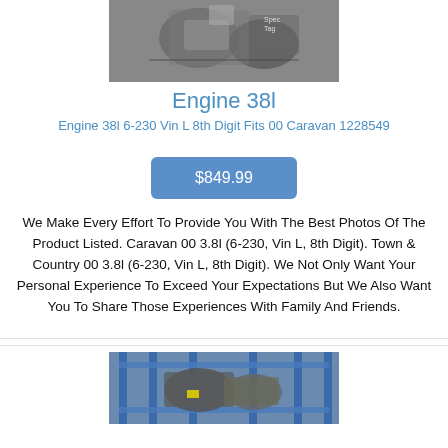[Figure (photo): Photo of an engine (38l) shown from above against a light background]
Engine 38l
Engine 38l 6-230 Vin L 8th Digit Fits 00 Caravan 1228549
$849.99
We Make Every Effort To Provide You With The Best Photos Of The Product Listed. Caravan 00 3.8l (6-230, Vin L, 8th Digit). Town & Country 00 3.8l (6-230, Vin L, 8th Digit). We Not Only Want Your Personal Experience To Exceed Your Expectations But We Also Want You To Share Those Experiences With Family And Friends.
[Figure (photo): Photo of an engine on a blue metal rack/stand in a warehouse setting]